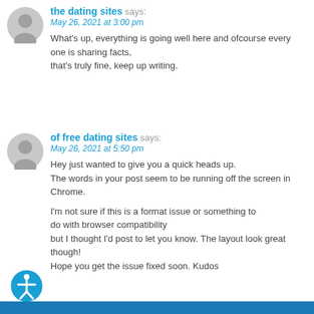the dating sites says: May 26, 2021 at 3:00 pm
What's up, everything is going well here and ofcourse every one is sharing facts,
that's truly fine, keep up writing.
of free dating sites says: May 26, 2021 at 5:50 pm
Hey just wanted to give you a quick heads up.
The words in your post seem to be running off the screen in Chrome.

I'm not sure if this is a format issue or something to do with browser compatibility
but I thought I'd post to let you know. The layout look great though!
Hope you get the issue fixed soon. Kudos